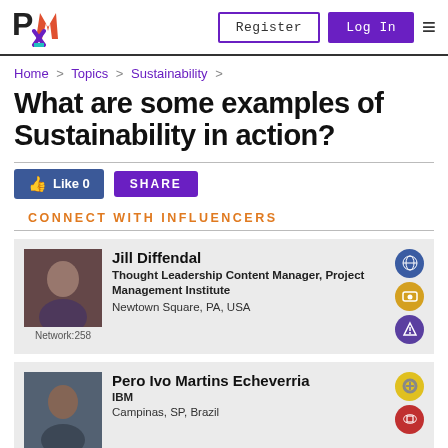PMI logo | Register | Log In | Menu
Home > Topics > Sustainability >
What are some examples of Sustainability in action?
Like 0  SHARE
CONNECT WITH INFLUENCERS
Jill Diffendal
Thought Leadership Content Manager, Project Management Institute
Newtown Square, PA, USA
Network:258
Pero Ivo Martins Echeverria
IBM
Campinas, SP, Brazil